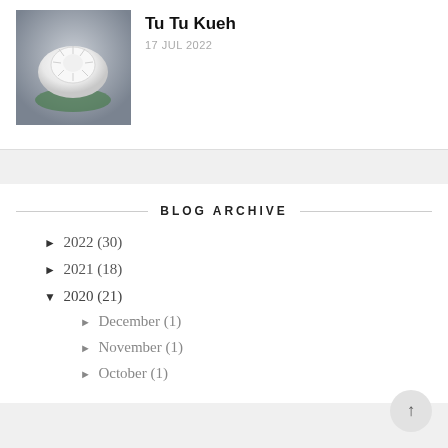[Figure (photo): Photo of a white Tu Tu Kueh (traditional steamed rice cake) with ridged flower pattern sitting on a green leaf]
Tu Tu Kueh
17 JUL 2022
BLOG ARCHIVE
► 2022 (30)
► 2021 (18)
▼ 2020 (21)
► December (1)
► November (1)
► October (1)